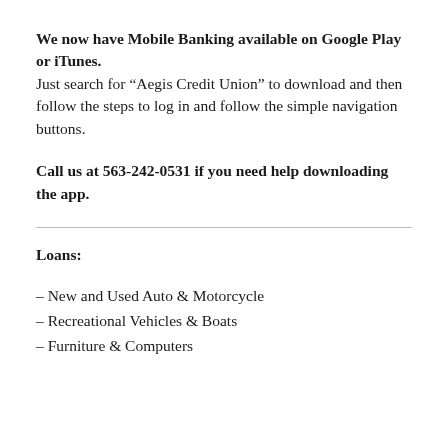We now have Mobile Banking available on Google Play or iTunes. Just search for “Aegis Credit Union” to download and then follow the steps to log in and follow the simple navigation buttons.
Call us at 563-242-0531 if you need help downloading the app.
Loans:
– New and Used Auto & Motorcycle
– Recreational Vehicles & Boats
– Furniture & Computers